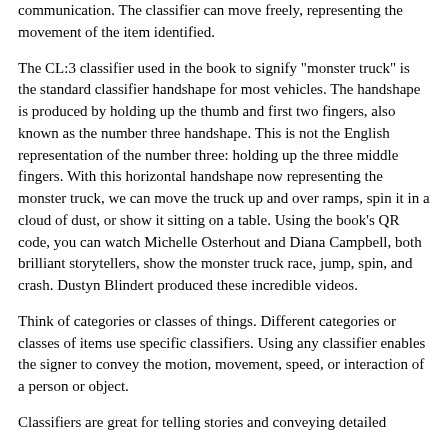communication. The classifier can move freely, representing the movement of the item identified.
The CL:3 classifier used in the book to signify "monster truck" is the standard classifier handshape for most vehicles. The handshape is produced by holding up the thumb and first two fingers, also known as the number three handshape. This is not the English representation of the number three: holding up the three middle fingers. With this horizontal handshape now representing the monster truck, we can move the truck up and over ramps, spin it in a cloud of dust, or show it sitting on a table. Using the book's QR code, you can watch Michelle Osterhout and Diana Campbell, both brilliant storytellers, show the monster truck race, jump, spin, and crash. Dustyn Blindert produced these incredible videos.
Think of categories or classes of things. Different categories or classes of items use specific classifiers. Using any classifier enables the signer to convey the motion, movement, speed, or interaction of a person or object.
Classifiers are great for telling stories and conveying detailed